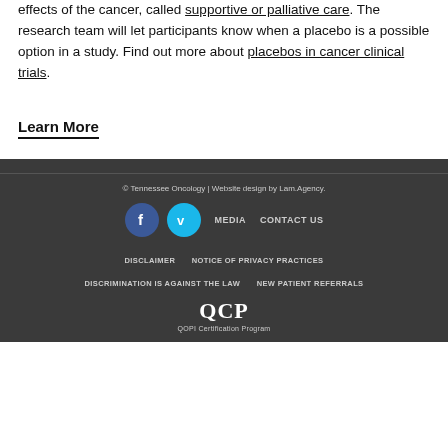effects of the cancer, called supportive or palliative care. The research team will let participants know when a placebo is a possible option in a study. Find out more about placebos in cancer clinical trials.
Learn More
© Tennessee Oncology | Website design by Lam.Agency. MEDIA  CONTACT US  DISCLAIMER  NOTICE OF PRIVACY PRACTICES  DISCRIMINATION IS AGAINST THE LAW  NEW PATIENT REFERRALS  QCP QOPI Certification Program